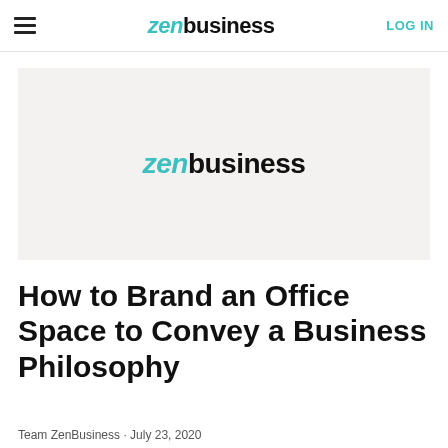zenbusiness | LOG IN
[Figure (logo): ZenBusiness logo on light gray background]
How to Brand an Office Space to Convey a Business Philosophy
Team ZenBusiness · July 23, 2020